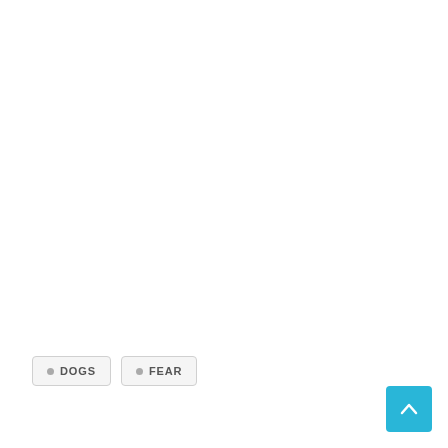DOGS
FEAR
[Figure (other): Scroll-to-top button: cyan/blue square with upward chevron arrow]